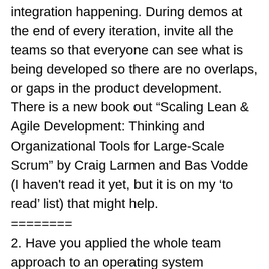that from very positively. You get a constant integration happening. During demos at the end of every iteration, invite all the teams so that everyone can see what is being developed so there are no overlaps, or gaps in the product development. There is a new book out “Scaling Lean & Agile Development: Thinking and Organizational Tools for Large-Scale Scrum” by Craig Larmen and Bas Vodde (I haven't read it yet, but it is on my ‘to read’ list) that might help.
========
2. Have you applied the whole team approach to an operating system (including its additional levels of testing such as system and solution testing) or just at a unit or application level? This refers both to a 3rd party operating system (like Windows and Linux) where we provide a product